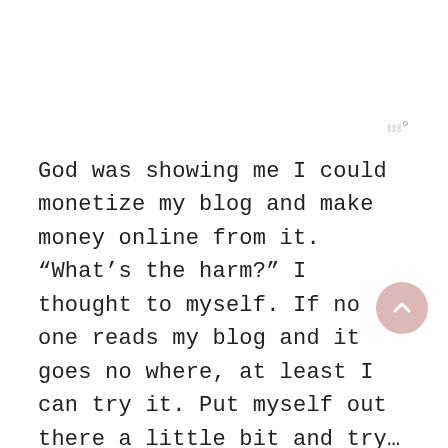[Figure (logo): Small logo/watermark mark in gray, resembling stylized 'W' or triple-bar symbol with a degree sign]
God was showing me I could monetize my blog and make money online from it. “What’s the harm?” I thought to myself. If no one reads my blog and it goes no where, at least I can try it. Put myself out there a little bit and try…see what the Lord decides to do.
...